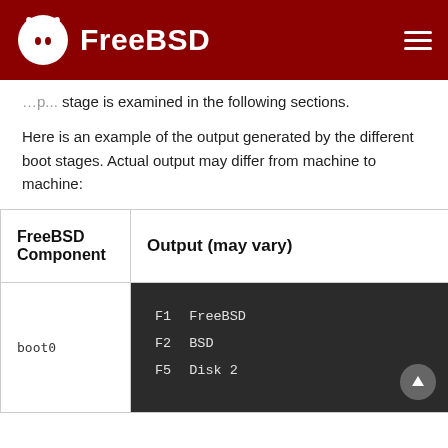FreeBSD
stage is examined in the following sections.
Here is an example of the output generated by the different boot stages. Actual output may differ from machine to machine:
| FreeBSD Component | Output (may vary) |
| --- | --- |
| boot0 | F1  FreeBSD
F2  BSD
F5  Disk 2 |